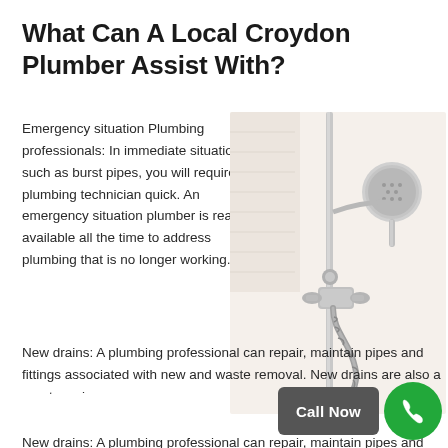What Can A Local Croydon Plumber Assist With?
Emergency situation Plumbing professionals: In immediate situations, such as burst pipes, you will require a plumbing technician quick. An emergency situation plumber is readily available all the time to address plumbing that is no longer working.
[Figure (photo): Chrome shower fixture with handheld showerhead on a rail, faucet taps, and flexible hose against a white/cream background]
New drains: A plumbing professional can repair, maintain pipes and fittings associated with new and waste removal. New drains are also a great service